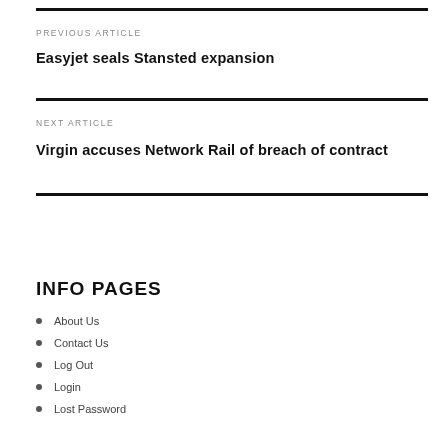PREVIOUS ARTICLE
Easyjet seals Stansted expansion
NEXT ARTICLE
Virgin accuses Network Rail of breach of contract
INFO PAGES
About Us
Contact Us
Log Out
Login
Lost Password